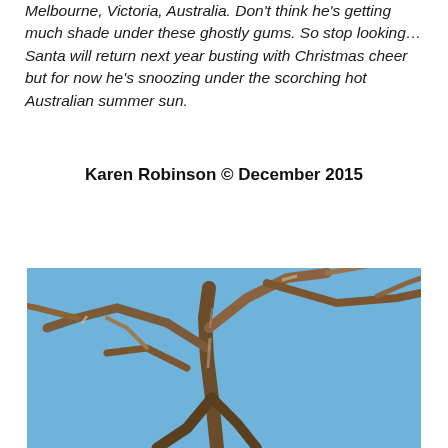Melbourne, Victoria, Australia. Don't think he's getting much shade under these ghostly gums. So stop looking… Santa will return next year busting with Christmas cheer but for now he's snoozing under the scorching hot Australian summer sun.
Karen Robinson © December 2015
[Figure (photo): Photo of bare, dead ghost gum tree branches with twisted and weathered white/brown wood against a clear blue sky, taken in Australia.]